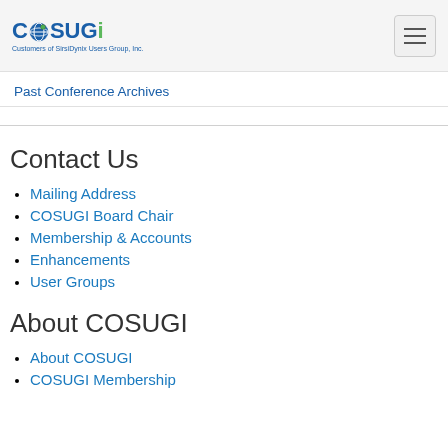COSUGi - Customers of SirsiDynix Users Group, Inc.
Past Conference Archives
Contact Us
Mailing Address
COSUGI Board Chair
Membership & Accounts
Enhancements
User Groups
About COSUGI
About COSUGI
COSUGI Membership